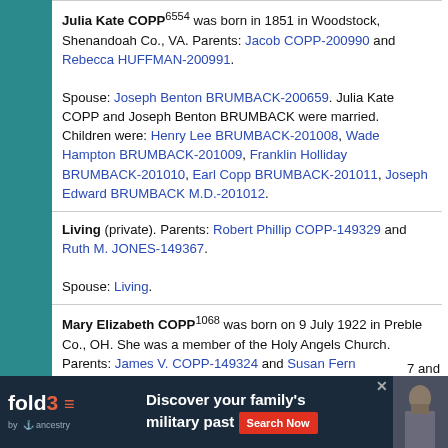Julia Kate COPP6554 was born in 1851 in Woodstock, Shenandoah Co., VA. Parents: Jacob COPP-200990 and Rebecca HUFFMAN-200991. Spouse: Joseph Benton BRUMBACK-200659. Julia Kate COPP and Joseph Benton BRUMBACK were married. Children were: Henry Lee BRUMBACK-201008, Wade Hampton BRUMBACK-201009, Franklin Holliday BRUMBACK-201010, Earl Copp BRUMBACK-201011, Joseph Edward BRUMBACK M.D.-201012.
Living (private). Parents: Robert Phillip COPP-149329 and Ruth M. JONES-149367. Spouse: Living.
Mary Elizabeth COPP1068 was born on 9 July 1922 in Preble Co., OH. She was a member of the Holy Angels Church. Parents: James V. COPP-149324 and Susan Fern GUENTHER-149320. Spouse: Ed ALTENDORF-149351. Mary Elizabeth COPP and Ed ALTENDORF were married on 8 January 1944. Children were: Living, Living.
[Figure (infographic): fold3 by Ancestry advertisement banner: 'Discover your family's military past' with Search Now button and soldier photo]